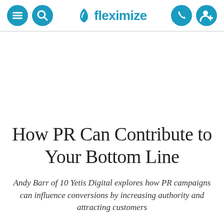fleximize
How PR Can Contribute to Your Bottom Line
Andy Barr of 10 Yetis Digital explores how PR campaigns can influence conversions by increasing authority and attracting customers